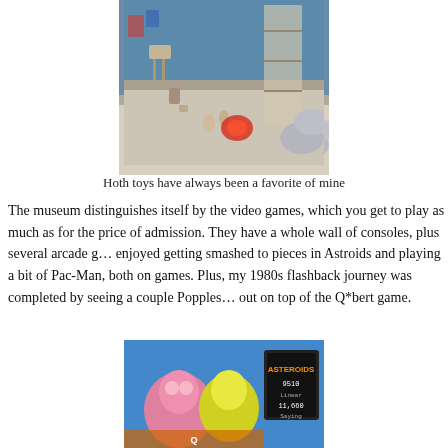[Figure (photo): A display of Hoth toys and Star Wars figurines and models arranged on a table in what appears to be a toy/game museum store with blue walls and shelving in the background.]
Hoth toys have always been a favorite of mine
The museum distinguishes itself by the video games, which you get to play as much as for the price of admission. They have a whole wall of consoles, plus several arcade games. enjoyed getting smashed to pieces in Astroids and playing a bit of Pac-Man, both on games. Plus, my 1980s flashback journey was completed by seeing a couple Popples out on top of the Q*bert game.
[Figure (photo): Photo showing Popples toys (pink and yellow) in front of an Asteroids arcade game cabinet with a score display showing 9510 and 11,660 showing.]